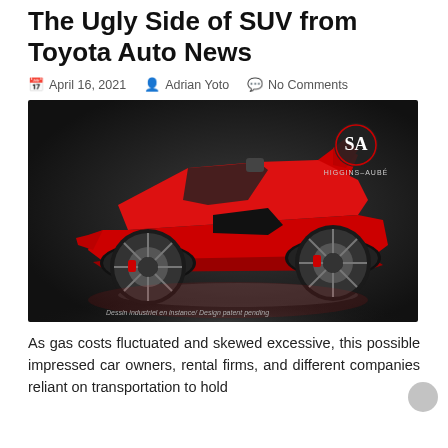The Ugly Side of SUV from Toyota Auto News
April 16, 2021   Adrian Yoto   No Comments
[Figure (photo): Red open-top sports car concept (Higgins-Aubé design) on dark background with text 'Dessin industriel en instance/ Design patent pending']
As gas costs fluctuated and skewed excessive, this possible impressed car owners, rental firms, and different companies reliant on transportation to hold